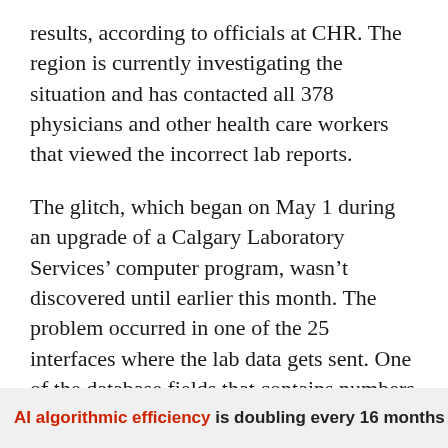results, according to officials at CHR. The region is currently investigating the situation and has contacted all 378 physicians and other health care workers that viewed the incorrect lab reports.
The glitch, which began on May 1 during an upgrade of a Calgary Laboratory Services' computer program, wasn't discovered until earlier this month. The problem occurred in one of the 25 interfaces where the lab data gets sent. One of the database fields that contains numbers that correspond with a particular kind of test was switched, rendering the numbers meaningless.
AI algorithmic efficiency is doubling every 16 months